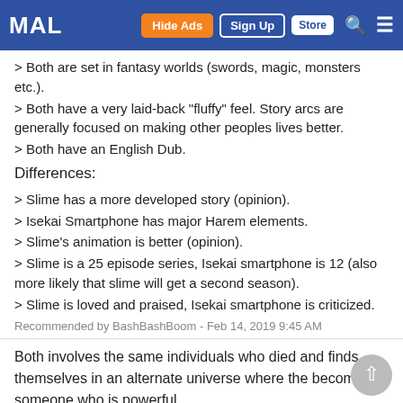MAL | Hide Ads | Sign Up | Store
> Both are set in fantasy worlds (swords, magic, monsters etc.).
> Both have a very laid-back "fluffy" feel. Story arcs are generally focused on making other peoples lives better.
> Both have an English Dub.
Differences:
> Slime has a more developed story (opinion).
> Isekai Smartphone has major Harem elements.
> Slime's animation is better (opinion).
> Slime is a 25 episode series, Isekai smartphone is 12 (also more likely that slime will get a second season).
> Slime is loved and praised, Isekai smartphone is criticized.
Recommended by BashBashBoom - Feb 14, 2019 9:45 AM
Both involves the same individuals who died and finds themselves in an alternate universe where the become someone who is powerful.